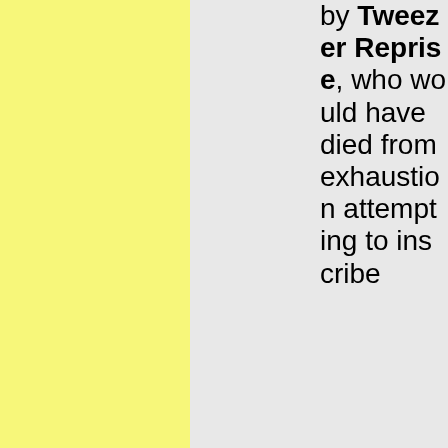by Tweezer Reprise, who would have died from exhaustion attempting to inscribe